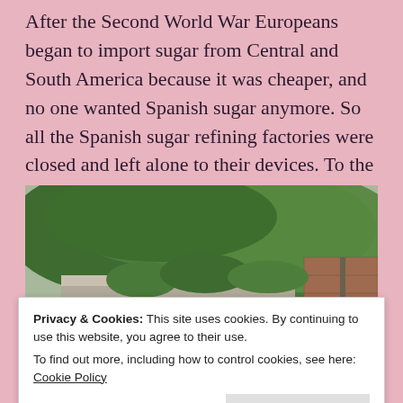After the Second World War Europeans began to import sugar from Central and South America because it was cheaper, and no one wanted Spanish sugar anymore. So all the Spanish sugar refining factories were closed and left alone to their devices. To the ravages of time, abandonment and vandalism.
[Figure (photo): A ruined or abandoned building with concrete walls and overgrown vegetation and trees visible above and behind the structure.]
Privacy & Cookies: This site uses cookies. By continuing to use this website, you agree to their use.
To find out more, including how to control cookies, see here: Cookie Policy